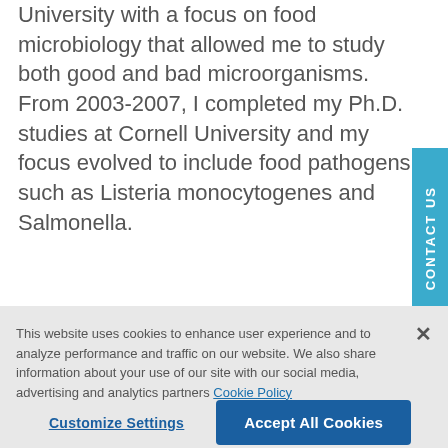University with a focus on food microbiology that allowed me to study both good and bad microorganisms. From 2003-2007, I completed my Ph.D. studies at Cornell University and my focus evolved to include food pathogens such as Listeria monocytogenes and Salmonella.
This website uses cookies to enhance user experience and to analyze performance and traffic on our website. We also share information about your use of our site with our social media, advertising and analytics partners Cookie Policy
Customize Settings
Accept All Cookies